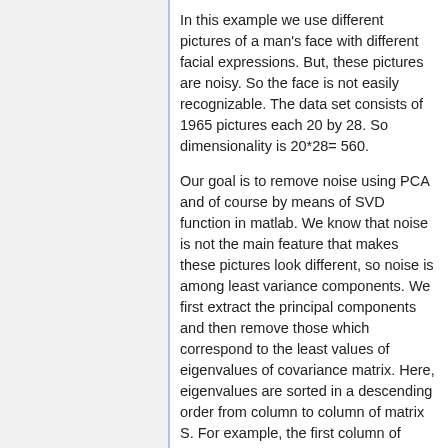In this example we use different pictures of a man's face with different facial expressions. But, these pictures are noisy. So the face is not easily recognizable. The data set consists of 1965 pictures each 20 by 28. So dimensionality is 20*28= 560.
Our goal is to remove noise using PCA and of course by means of SVD function in matlab. We know that noise is not the main feature that makes these pictures look different, so noise is among least variance components. We first extract the principal components and then remove those which correspond to the least values of eigenvalues of covariance matrix. Here, eigenvalues are sorted in a descending order from column to column of matrix S. For example, the first column of matrix U